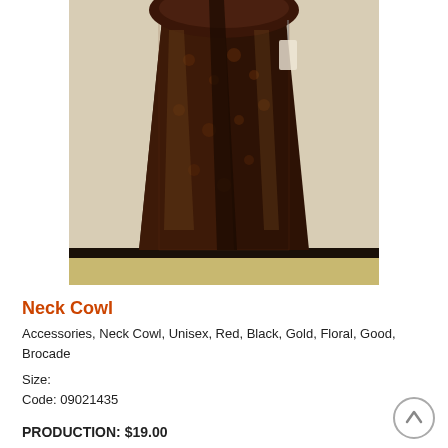[Figure (photo): A dark brown and gold floral brocade neck cowl/scarf hanging on a mannequin or hanger against a light beige wall background]
Neck Cowl
Accessories, Neck Cowl, Unisex, Red, Black, Gold, Floral, Good, Brocade
Size:
Code: 09021435
PRODUCTION: $19.00